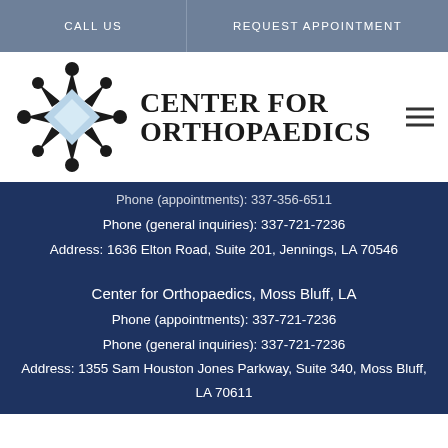CALL US | REQUEST APPOINTMENT
[Figure (logo): Center for Orthopaedics logo with star/snowflake icon and serif text]
Phone (appointments): 337-356-6511
Phone (general inquiries): 337-721-7236
Address: 1636 Elton Road, Suite 201, Jennings, LA 70546
Center for Orthopaedics, Moss Bluff, LA
Phone (appointments): 337-721-7236
Phone (general inquiries): 337-721-7236
Address: 1355 Sam Houston Jones Parkway, Suite 340, Moss Bluff, LA 70611